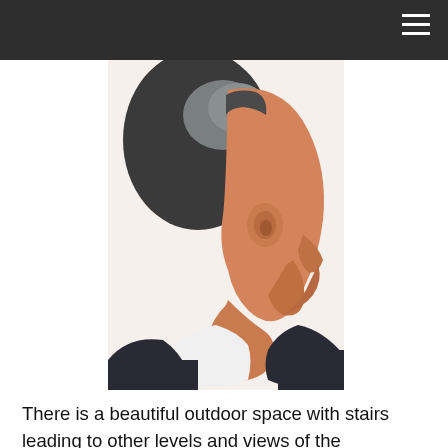[Figure (illustration): A close-up illustration or painting of a man's head and face in profile view, facing right. The style is painterly with flat graphic areas of color. The man has dark hair (shown in dark grey/charcoal), a skin tone rendered in warm oranges and peach tones, and is wearing a dark suit with a white collar/shirt. The background is plain white/light. The image cuts off at the shoulders and shows the back and side of the head prominently.]
There is a beautiful outdoor space with stairs leading to other levels and views of the surrounding cityscape and the new, NYC treasure, the High Line. If you plan to visit